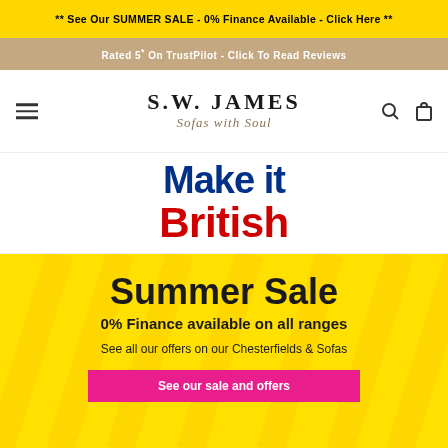** See Our SUMMER SALE - 0% Finance Available - Click Here **
Rated 5* On TrustPilot - Click To Read Reviews
[Figure (logo): S.W. James Sofas with Soul brand logo with hamburger menu, search and cart icons]
[Figure (logo): Make it British logo — 'Make it' in dark blue bold text, 'British' in red bold text]
[Figure (infographic): Yellow Summer Sale promotional banner with diagonal stripe pattern. Text: 'Summer Sale', '0% Finance available on all ranges', 'See all our offers on our Chesterfields & Sofas', pink button 'See our sale and offers']